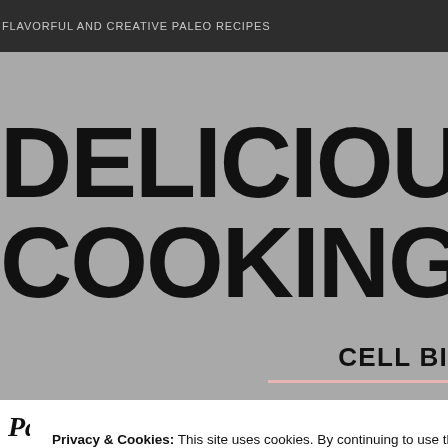FLAVORFUL AND CREATIVE PALEO RECIPES
DELICIOUS P COOKING
CELL BI
Privacy & Cookies: This site uses cookies. By continuing to use this website, you agree to their use.
To find out more, including how to control cookies, see here: Cookie Policy
Close and accept
Paleo Chicken Pad Thai with